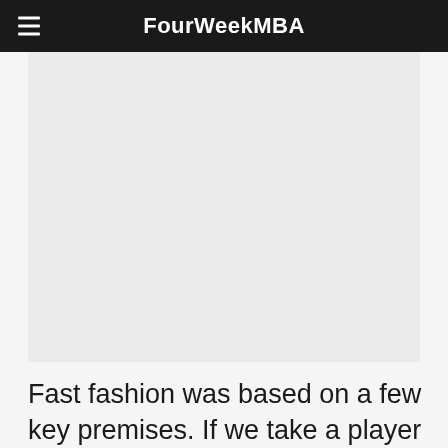FourWeekMBA
[Figure (other): Advertisement or image placeholder area]
Fast fashion was based on a few key premises. If we take a player like